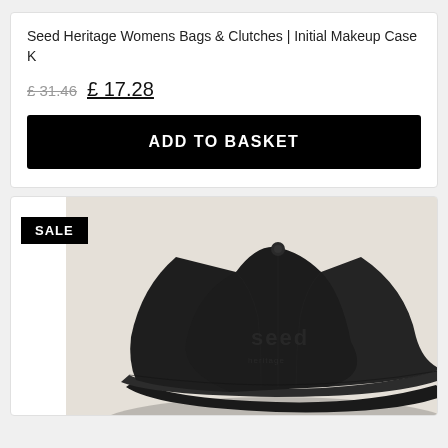Seed Heritage Womens Bags & Clutches | Initial Makeup Case K
£ 31.46   £ 17.28
ADD TO BASKET
[Figure (photo): Black Seed Heritage baseball cap with embossed 'seed' logo on front panel, photographed against a light beige/cream background. A black SALE badge is shown in the top-left corner of the product card.]